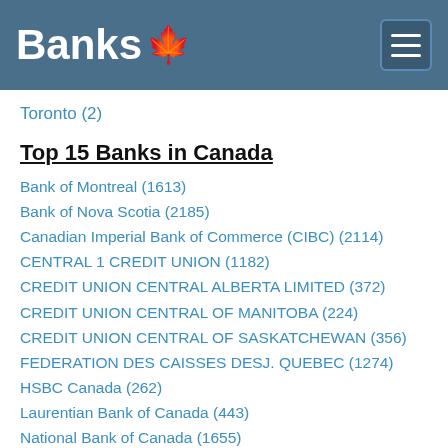Banks 🍁
Toronto (2)
Top 15 Banks in Canada
Bank of Montreal (1613)
Bank of Nova Scotia (2185)
Canadian Imperial Bank of Commerce (CIBC) (2114)
CENTRAL 1 CREDIT UNION (1182)
CREDIT UNION CENTRAL ALBERTA LIMITED (372)
CREDIT UNION CENTRAL OF MANITOBA (224)
CREDIT UNION CENTRAL OF SASKATCHEWAN (356)
FEDERATION DES CAISSES DESJ. QUEBEC (1274)
HSBC Canada (262)
Laurentian Bank of Canada (443)
National Bank of Canada (1655)
NATIONAL TRUST COMPANY (294)
Royal Bank of Canada (RBC) (2572)
THE CANADA TRUST COMPANY (632)
Toronto-Dominion Bank (TD Canada Trust) (2477)